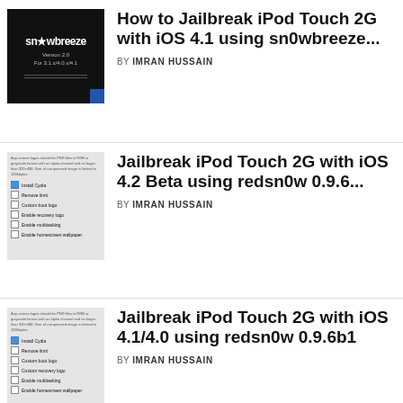[Figure (screenshot): sn0wbreeze Version 2.0 For 3.1.x/4.0.x/4.1 logo on black background]
How to Jailbreak iPod Touch 2G with iOS 4.1 using sn0wbreeze...
BY IMRAN HUSSAIN
[Figure (screenshot): Settings screen with checkboxes for Install Cydia, Remove limit, Custom boot logo, Enable recovery logo, Enable multitasking, Enable homescreen wallpaper]
Jailbreak iPod Touch 2G with iOS 4.2 Beta using redsn0w 0.9.6...
BY IMRAN HUSSAIN
[Figure (screenshot): Settings screen with checkboxes for Install Cydia, Remove limit, Custom boot logo, Custom recovery logo, Enable multitasking, Enable homescreen wallpaper]
Jailbreak iPod Touch 2G with iOS 4.1/4.0 using redsn0w 0.9.6b1
BY IMRAN HUSSAIN